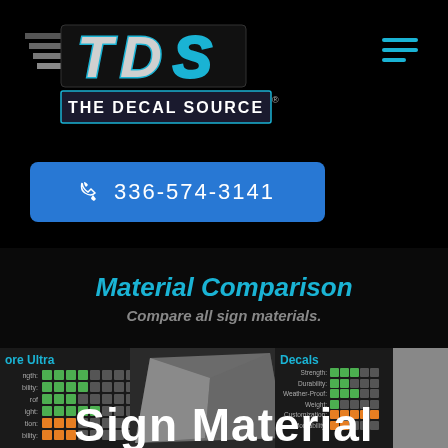[Figure (logo): TDS - The Decal Source logo with blue and silver lettering on black background]
[Figure (other): Hamburger menu icon with three horizontal cyan/teal lines]
336-574-3141
Material Comparison
Compare all sign materials.
[Figure (screenshot): Partial material comparison cards showing 'ore Ultra' and 'Decals' with colored rating boxes for Strength, Durability, Weather-Proof, Weight, Customization, Affordability. Bottom shows 'Sign Material' text overlay.]